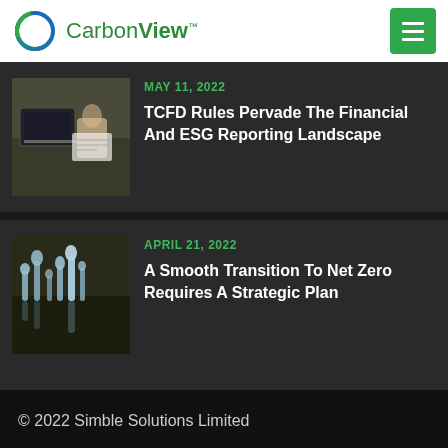CarbonView™
MAY 11, 2022
TCFD Rules Pervade The Financial And ESG Reporting Landscape
APRIL 21, 2022
A Smooth Transition To Net Zero Requires A Strategic Plan
© 2022 Simble Solutions Limited